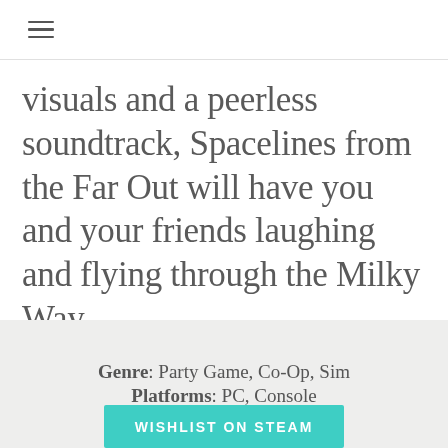≡
visuals and a peerless soundtrack, Spacelines from the Far Out will have you and your friends laughing and flying through the Milky Way.
Genre: Party Game, Co-Op, Sim
Platforms: PC, Console
WISHLIST ON STEAM